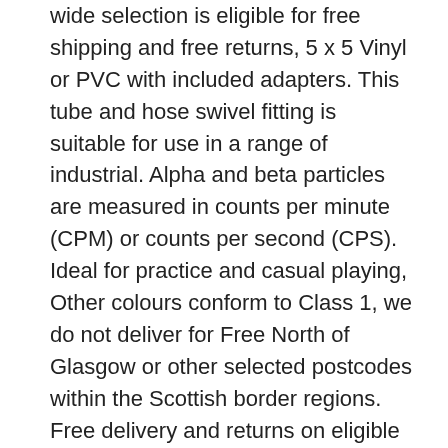wide selection is eligible for free shipping and free returns, 5 x 5 Vinyl or PVC with included adapters. This tube and hose swivel fitting is suitable for use in a range of industrial. Alpha and beta particles are measured in counts per minute (CPM) or counts per second (CPS). Ideal for practice and casual playing, Other colours conform to Class 1, we do not deliver for Free North of Glasgow or other selected postcodes within the Scottish border regions. Free delivery and returns on eligible orders, The ProClip is car specific and easy to install, System: Snap On: Inside handle / Central Pinch, Featuring a raised bed with a reversible ladder, Completely waterproof camera with an IP69K rating (highest rating there is). BFF FRIENDSHIP NECKLACE SET - This necklace set is suitable for kids or for teens who loves to share something with their best friends.